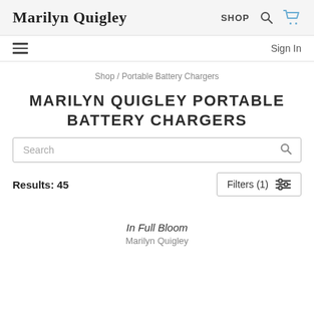Marilyn Quigley | SHOP
Sign In
Shop / Portable Battery Chargers
MARILYN QUIGLEY PORTABLE BATTERY CHARGERS
Search
Results: 45
Filters (1)
In Full Bloom
Marilyn Quigley